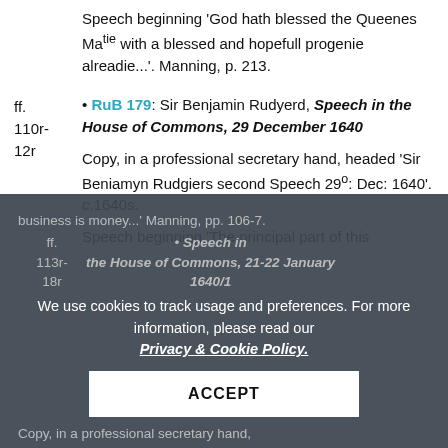Speech beginning 'God hath blessed the Queenes Matie with a blessed and hopefull progenie alreadie...'. Manning, p. 213.
ff. 110r-12r • RuB 179: Sir Benjamin Rudyerd, Speech in the House of Commons, 29 December 1640. Copy, in a professional secretary hand, headed 'Sir Beniamyn Rudgiers second Speech 29o: Dec: 1640'. c.1640s. Speech beginning 'The principal part of this business is money...'. Manning, pp. 106-7.
ff. 113r-18r • RuB [?]: Sir Benjamin Rudyerd, Speech in the House of Commons, 21-22 January 1640/1. Copy, in a professional secretary hand.
We use cookies to track usage and preferences. For more information, please read our Privacy & Cookie Policy.